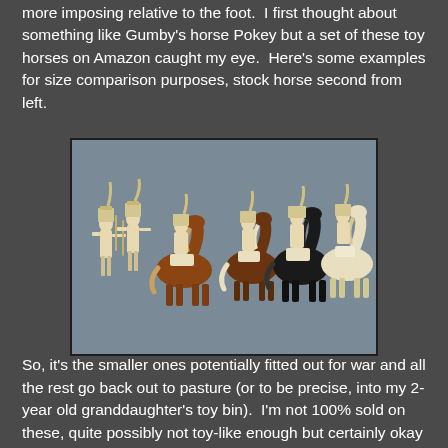more imposing relative to the foot. I first thought about something like Gumby's horse Pokey but a set of these toy horses on Amazon caught my eye. Here's some examples for size comparison purposes, stock horse second from left.
[Figure (photo): Photograph of miniature toy horse figures and soldier figurines arranged in a row against a grey background. From left to right: two unpainted/cream colored soldier figures on foot, a brown horse with cream soldier rider, a brown horse with cream soldier rider, a black horse with cream soldier rider, and a white/cream horse with cream soldier rider. The stock horse is second from left.]
So, it's the smaller ones potentially fitted out for war and all the rest go back out to pasture (or to be precise, into my 2-year old granddaughter's toy bin). I'm not 100% sold on these, quite possibly not toy-like enough but certainly okay